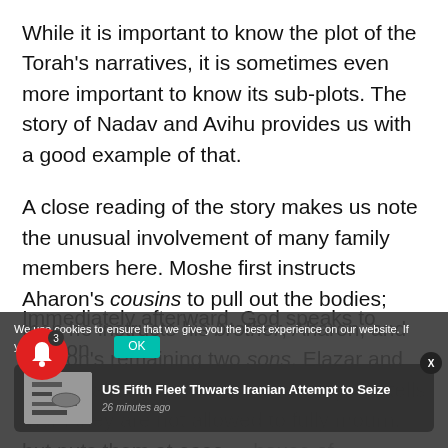While it is important to know the plot of the Torah's narratives, it is sometimes even more important to know its sub-plots. The story of Nadav and Avihu provides us with a good example of that.
A close reading of the story makes us note the unusual involvement of many family members here. Moshe first instructs Aharon's cousins to pull out the bodies; then he instructs his brother, Aharon, and Aharon's remaining two sons, Elazar and Itamar, about the laws of mourning. He tells them they are not allowed to fully mourn, but puts them at ease ... house of ... Immediately afterward, God speaks to Aharon
[Figure (screenshot): Cookie consent overlay with a news notification card showing 'US Fifth Fleet Thwarts Iranian Attempt to Seize' with thumbnail image and '26 minutes ago' timestamp, plus a red notification bell with badge showing 3, and a teal OK button.]